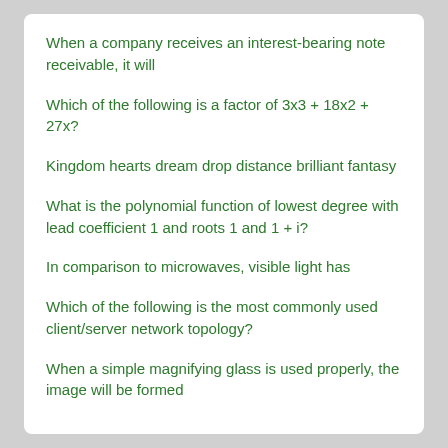When a company receives an interest-bearing note receivable, it will
Which of the following is a factor of 3x3 + 18x2 + 27x?
Kingdom hearts dream drop distance brilliant fantasy
What is the polynomial function of lowest degree with lead coefficient 1 and roots 1 and 1 + i?
In comparison to microwaves, visible light has
Which of the following is the most commonly used client/server network topology?
When a simple magnifying glass is used properly, the image will be formed